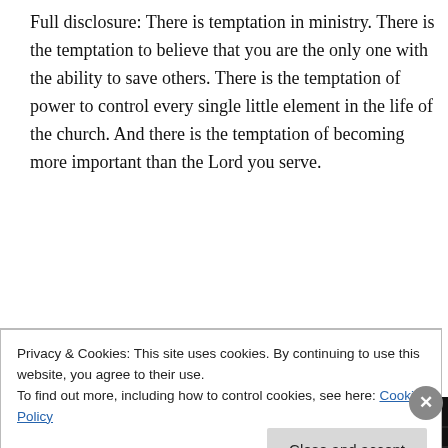Full disclosure: There is temptation in ministry. There is the temptation to believe that you are the only one with the ability to save others. There is the temptation of power to control every single little element in the life of the church. And there is the temptation of becoming more important than the Lord you serve.
[Figure (screenshot): Advertisement banner showing 'lovers.' in bold black text, 'Download now' in red, and a stack of podcast app cards including '99% Invisible' in yellow text on a black grid card, alongside teal and other colored cards.]
Privacy & Cookies: This site uses cookies. By continuing to use this website, you agree to their use.
To find out more, including how to control cookies, see here: Cookie Policy